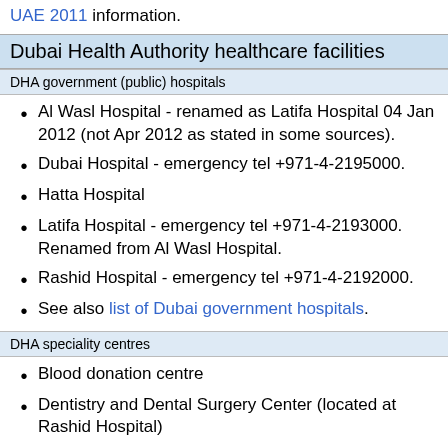UAE 2011 information.
Dubai Health Authority healthcare facilities
DHA government (public) hospitals
Al Wasl Hospital - renamed as Latifa Hospital 04 Jan 2012 (not Apr 2012 as stated in some sources).
Dubai Hospital - emergency tel +971-4-2195000.
Hatta Hospital
Latifa Hospital - emergency tel +971-4-2193000. Renamed from Al Wasl Hospital.
Rashid Hospital - emergency tel +971-4-2192000.
See also list of Dubai government hospitals.
DHA speciality centres
Blood donation centre
Dentistry and Dental Surgery Center (located at Rashid Hospital)
Dubai Airport Medical Center
Dubai Blood Donation Center
Dubai Cord Blood and Research Centre